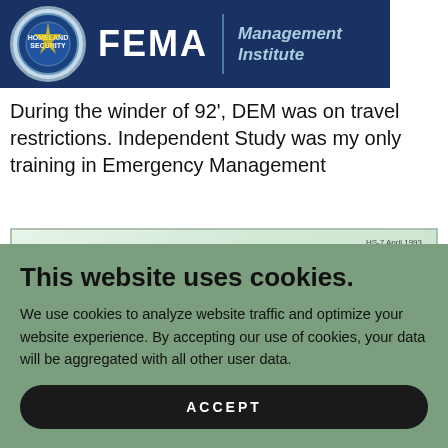[Figure (logo): FEMA Emergency Management Institute banner logo with DHS seal on dark blue background]
During the winder of 92', DEM was on travel restrictions. Independent Study was my only training in Emergency Management
[Figure (photo): Scanned document page with light green background, code HS-7 April 1993 in upper right, large bold partial text visible at bottom]
This website uses cookies.
We use cookies to analyze website traffic and optimize your website experience. By accepting our use of cookies, your data will be aggregated with all other user data.
ACCEPT